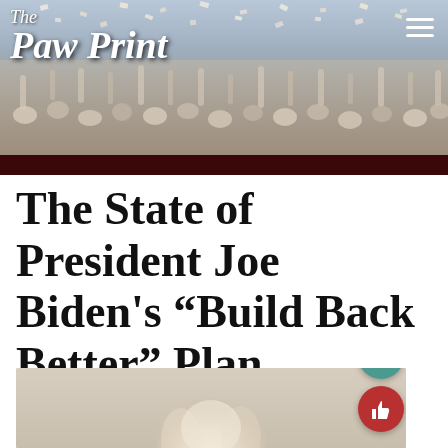[Figure (photo): The Paw Print newspaper website header banner with crowd photo of students celebrating, tossing papers in the air. White italic logo text 'The Paw Print' in top left, hamburger menu icon in top right. Dark maroon bar at bottom of banner.]
The State of President Joe Biden's “Build Back Better” Plan
[Figure (photo): Partial photo of a person (seen from behind/above) with light blonde hair styled up, against a beige/tan background. Two circular UI buttons visible on the right: teal comment bubble button and red thumbs-up button.]